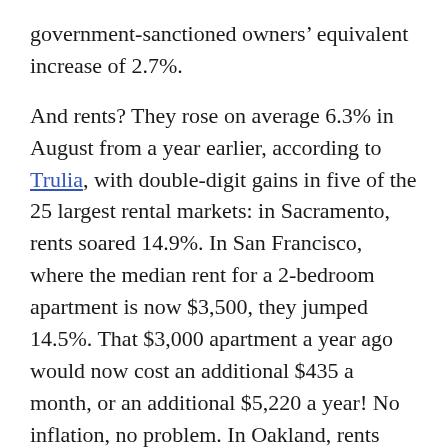government-sanctioned owners' equivalent increase of 2.7%.
And rents? They rose on average 6.3% in August from a year earlier, according to Trulia, with double-digit gains in five of the 25 largest rental markets: in Sacramento, rents soared 14.9%. In San Francisco, where the median rent for a 2-bedroom apartment is now $3,500, they jumped 14.5%. That $3,000 apartment a year ago would now cost an additional $435 a month, or an additional $5,220 a year! No inflation, no problem. In Oakland, rents jumped 14.4%; in Denver, 13.1%; in Miami 11.3%. In the 25 largest rental markets, rents soared on average 10%.
How can our trusty government be so far off the mark?
The data are obtained by survey. For “owners’ equivalent rent,” owners are asked what they think they would have